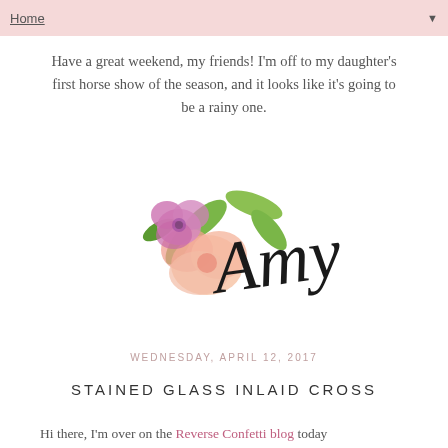Home ▼
Have a great weekend, my friends! I'm off to my daughter's first horse show of the season, and it looks like it's going to be a rainy one.
[Figure (illustration): Watercolor floral illustration with pink and peach flowers and green leaves, overlaid with a cursive script signature reading 'Amy']
WEDNESDAY, APRIL 12, 2017
STAINED GLASS INLAID CROSS
Hi there, I'm over on the Reverse Confetti blog today